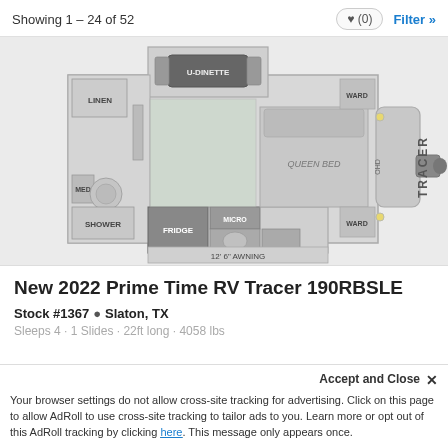Showing 1 – 24 of 52
[Figure (engineering-diagram): RV floor plan diagram for Prime Time RV Tracer 190RBSLE showing layout including U-Dinette, Linen, TV Prep, Med, Shower, Fridge, Micro, Sink, Ward (wardrobes), Queen Bed, OHD, and 12'6" Awning with TRACER branding on the side.]
New 2022 Prime Time RV Tracer 190RBSLE
Stock #1367  Slaton, TX
Sleeps 4  1 Slides  22ft long  4058 lbs
Your browser settings do not allow cross-site tracking for advertising. Click on this page to allow AdRoll to use cross-site tracking to tailor ads to you. Learn more or opt out of this AdRoll tracking by clicking here. This message only appears once.